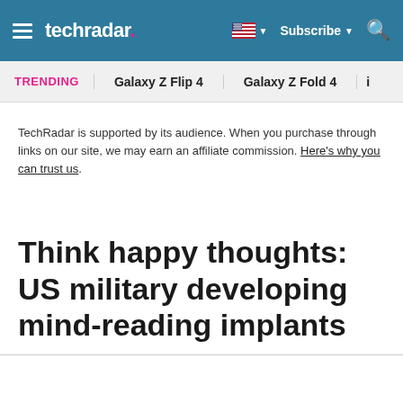techradar
TRENDING   Galaxy Z Flip 4   Galaxy Z Fold 4
TechRadar is supported by its audience. When you purchase through links on our site, we may earn an affiliate commission. Here's why you can trust us.
Think happy thoughts: US military developing mind-reading implants